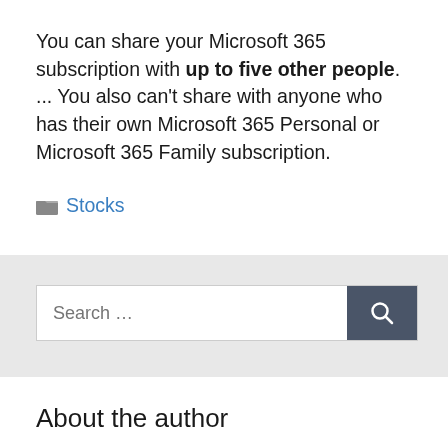You can share your Microsoft 365 subscription with up to five other people. ... You also can't share with anyone who has their own Microsoft 365 Personal or Microsoft 365 Family subscription.
Stocks
[Figure (screenshot): Search box with placeholder text 'Search ...' and a dark grey search button with magnifying glass icon]
About the author